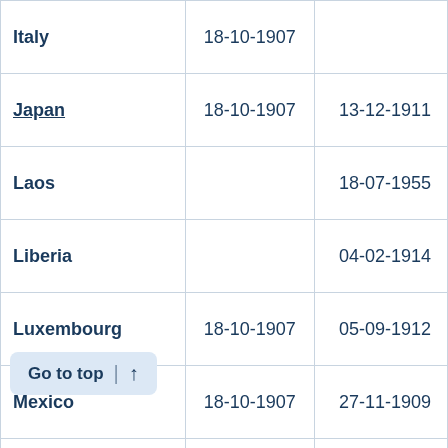| Country | Date 1 | Date 2 |
| --- | --- | --- |
| Italy | 18-10-1907 |  |
| Japan | 18-10-1907 | 13-12-1911 |
| Laos |  | 18-07-1955 |
| Liberia |  | 04-02-1914 |
| Luxembourg | 18-10-1907 | 05-09-1912 |
| Mexico | 18-10-1907 | 27-11-1909 |
| Netherlands | 18-10-1907 | 27-11-1909 |